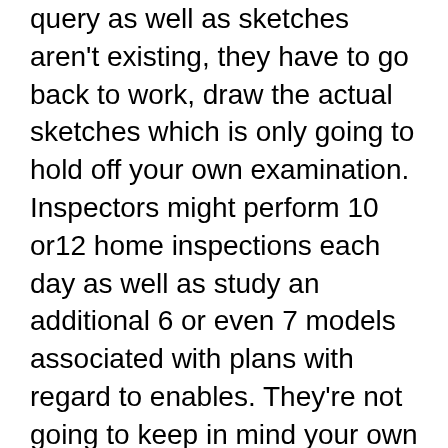In the event that a good inspector includes a query as well as sketches aren't existing, they have to go back to work, draw the actual sketches which is only going to hold off your own examination. Inspectors might perform 10 or12 home inspections each day as well as study an additional 6 or even 7 models associated with plans with regard to enables. They're not going to keep in mind your own particulars.
Along with all of this in your mind, begin in sufficient time, possess all of your documents prepared and also the procedure goes rapidly. Numerous creating inspectors tend to be contractors on their own and therefore are an abundance associated with free of charge understanding you might pull out of them concerning the process of building.